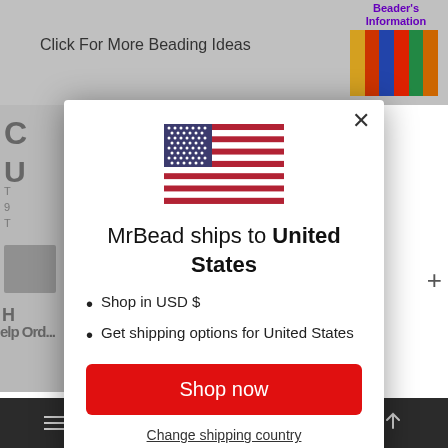[Figure (screenshot): Background of a beading/craft website (MrBead) showing 'Click For More Beading Ideas' text, Beader's Information book spines image, partially visible page content, and bottom navigation bar]
[Figure (other): Modal dialog popup: US flag icon, text 'MrBead ships to United States', bullet points 'Shop in USD $' and 'Get shipping options for United States', a red 'Shop now' button, and a 'Change shipping country' link with a close (X) button]
MrBead ships to United States
Shop in USD $
Get shipping options for United States
Shop now
Change shipping country